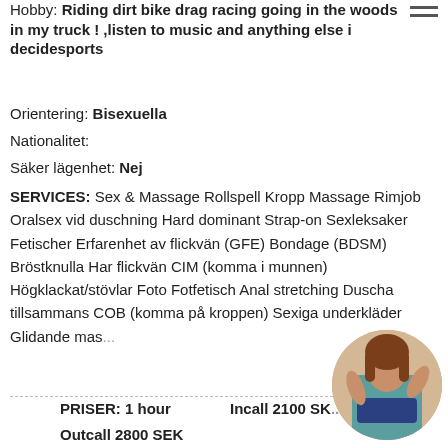Hobby: Riding dirt bike drag racing going in the woods in my truck ! ,listen to music and anything else i decidesports
Orientering: Bisexuella
Nationalitet:
Säker lägenhet: Nej
SERVICES: Sex & Massage Rollspell Kropp Massage Rimjob Oralsex vid duschning Hard dominant Strap-on Sexleksaker Fetischer Erfarenhet av flickvän (GFE) Bondage (BDSM) Bröstknulla Har flickvän CIM (komma i munnen) Högklackat/stövlar Foto Fotfetisch Anal stretching Duscha tillsammans COB (komma på kroppen) Sexiga underkläder Glidande mas...
PRISER: 1 hour    Incall 2100 SK...
Outcall 2800 SEK
[Figure (photo): Circular thumbnail photo of a woman]